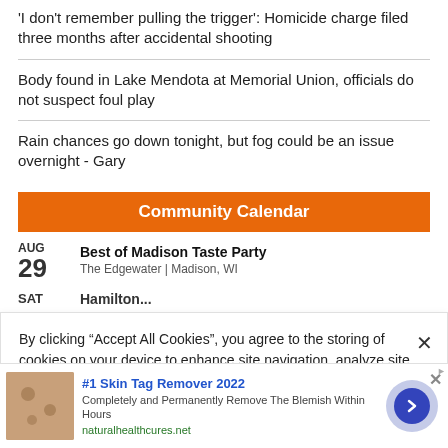'I don't remember pulling the trigger': Homicide charge filed three months after accidental shooting
Body found in Lake Mendota at Memorial Union, officials do not suspect foul play
Rain chances go down tonight, but fog could be an issue overnight - Gary
Community Calendar
AUG 29 — Best of Madison Taste Party | The Edgewater | Madison, WI
SAT — Hamilton...
By clicking “Accept All Cookies”, you agree to the storing of cookies on your device to enhance site navigation, analyze site usage, and assist in our marketing efforts.
#1 Skin Tag Remover 2022
Completely and Permanently Remove The Blemish Within Hours
naturalhealthcures.net